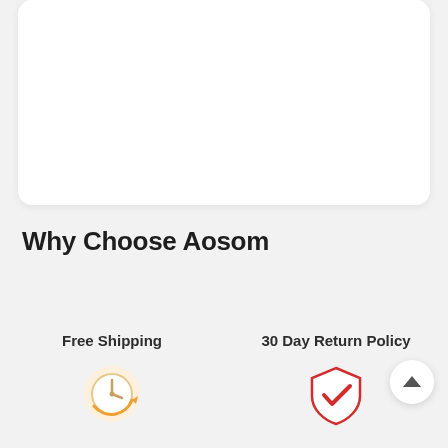[Figure (other): White rounded card panel at top of page, partially visible]
Why Choose Aosom
Free Shipping
30 Day Return Policy
[Figure (illustration): Clock/time icon with orange circular arrow, representing fast/on-time shipping]
[Figure (illustration): Red shield with a checkmark, representing 30 day return policy guarantee]